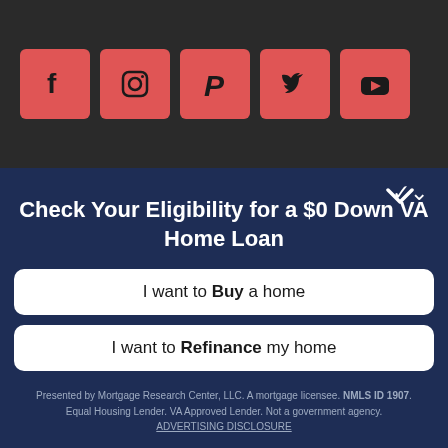[Figure (infographic): Dark gray top bar with five red square social media icons: Facebook (f), Instagram (camera), Pinterest (P), Twitter (bird), YouTube (play button)]
Check Your Eligibility for a $0 Down VA Home Loan
I want to Buy a home
I want to Refinance my home
Presented by Mortgage Research Center, LLC. A mortgage licensee. NMLS ID 1907. Equal Housing Lender. VA Approved Lender. Not a government agency. ADVERTISING DISCLOSURE